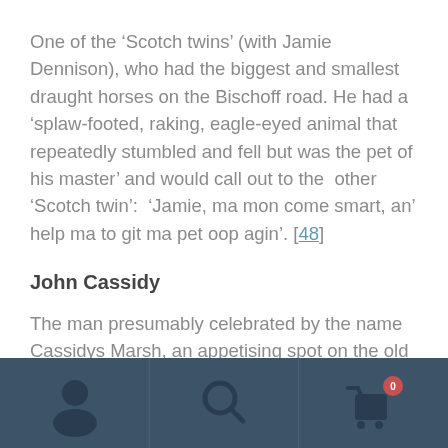One of the ‘Scotch twins’ (with Jamie Dennison), who had the biggest and smallest draught horses on the Bischoff road. He had a ‘splaw-footed, raking, eagle-eyed animal that repeatedly stumbled and fell but was the pet of his master’ and would call out to the  other ‘Scotch twin’:  ‘Jamie, ma mon come smart, an’ help ma to git ma pet oop agin’. [48]
John Cassidy
The man presumably celebrated by the name Cassidys Marsh, an appetising spot on the old
[Figure (other): Mobile app bottom navigation bar with three icon buttons: person/user icon, search/magnifying glass icon, and shopping cart icon with badge showing number 0. Dark blue-grey background.]